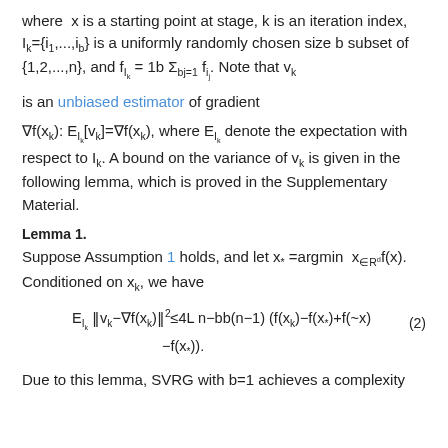where x is a starting point at stage, k is an iteration index, Ik={i1,...,ib} is a uniformly randomly chosen size b subset of {1,2,...,n}, and f_Ik = 1b Σ_{bj=1} f_{ij}. Note that vk
is an unbiased estimator of gradient
∇f(xk): E_{Ik}[vk]=∇f(xk), where E_{Ik} denote the expectation with respect to Ik. A bound on the variance of vk is given in the following lemma, which is proved in the Supplementary Material.
Lemma 1.
Suppose Assumption 1 holds, and let x*=argmin x∈Rdf(x). Conditioned on xk, we have
Due to this lemma, SVRG with b=1 achieves a complexity